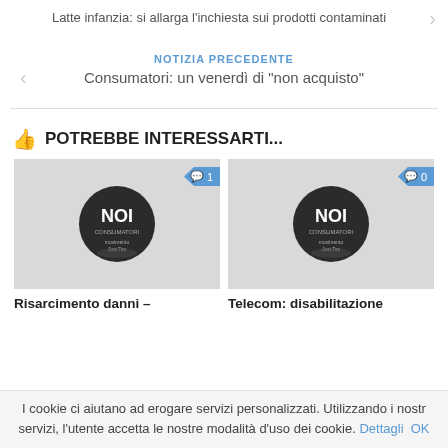Latte infanzia: si allarga l'inchiesta sui prodotti contaminati
NOTIZIA PRECEDENTE
Consumatori: un venerdì di "non acquisto"
👍 POTREBBE INTERESSARTI...
[Figure (other): NOI Consumatori logo card with comment badge showing 1]
[Figure (other): NOI Consumatori logo card with comment badge showing 0]
Risarcimento danni –
Telecom: disabilitazione
I cookie ci aiutano ad erogare servizi personalizzati. Utilizzando i nostri servizi, l'utente accetta le nostre modalità d'uso dei cookie. Dettagli OK